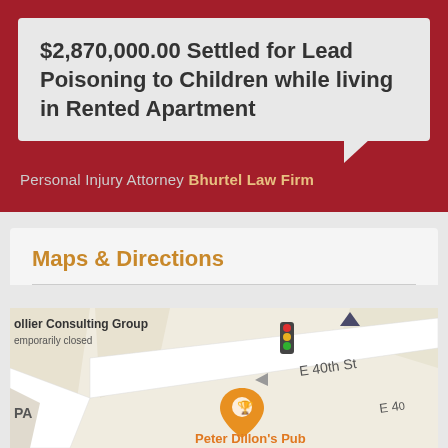$2,870,000.00 Settled for Lead Poisoning to Children while living in Rented Apartment
Personal Injury Attorney Bhurtel Law Firm
Maps & Directions
[Figure (map): Google Maps view showing E 40th St area with Peter Dillon's Pub marker, Collier Consulting Group label (temporarily closed), traffic light icon, and street layout.]